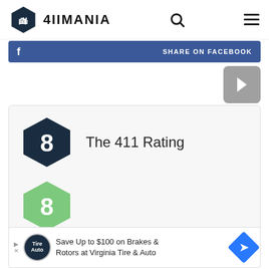4IIMANIA
[Figure (screenshot): Facebook share button bar with 'SHARE ON FACEBOOK' text in blue]
[Figure (other): Grey arrow/next button]
[Figure (infographic): The 411 Rating with dark navy hexagon showing number 8]
[Figure (infographic): Community Grade with green hexagon showing number 8]
Community Grade
[Figure (screenshot): Advertisement: Save Up to $100 on Brakes & Rotors at Virginia Tire & Auto]